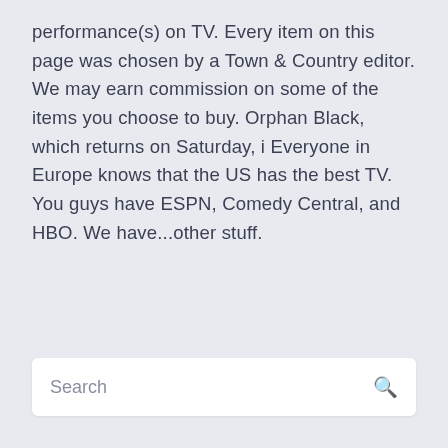performance(s) on TV. Every item on this page was chosen by a Town & Country editor. We may earn commission on some of the items you choose to buy. Orphan Black, which returns on Saturday, i Everyone in Europe knows that the US has the best TV. You guys have ESPN, Comedy Central, and HBO. We have...other stuff.